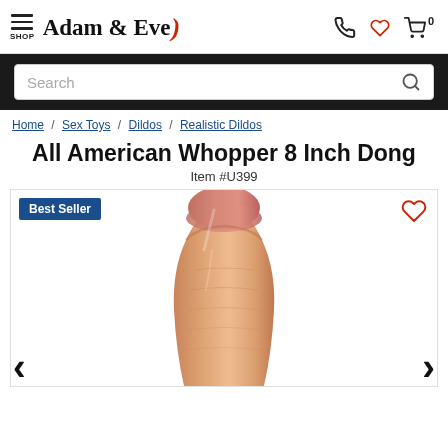Adam & Eve — Shop header with navigation icons
Search
Home / Sex Toys / Dildos / Realistic Dildos
All American Whopper 8 Inch Dong
Item #U399
[Figure (photo): Product photo of a realistic flesh-toned dildo on white background. A blue 'Best Seller' badge is in the top-left corner and a heart (wishlist) icon is in the top-right corner. Left and right navigation arrows flank the image.]